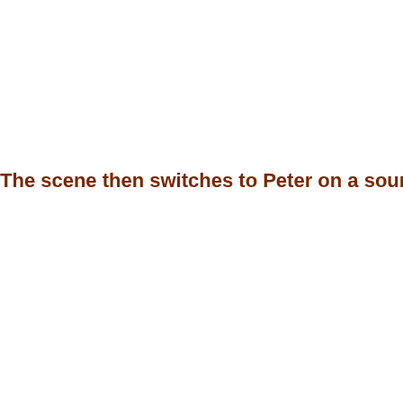The scene then switches to Peter on a sound stag